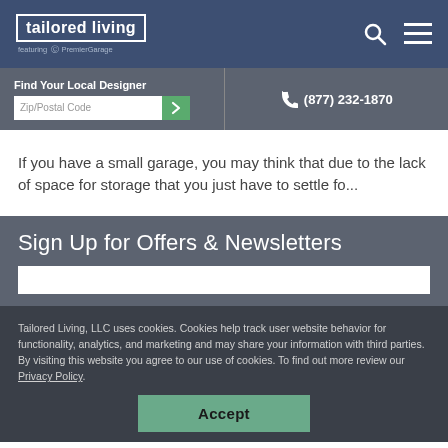tailored living featuring PremierGarage
Find Your Local Designer
Zip/Postal Code
☎ (877) 232-1870
If you have a small garage, you may think that due to the lack of space for storage that you just have to settle fo...
Sign Up for Offers & Newsletters
Tailored Living, LLC uses cookies. Cookies help track user website behavior for functionality, analytics, and marketing and may share your information with third parties. By visiting this website you agree to our use of cookies. To find out more review our Privacy Policy.
Accept